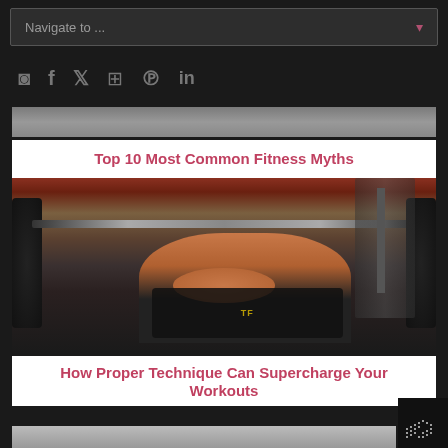Navigate to ...
[Figure (other): Social media icons row: RSS, Facebook, Twitter, Instagram, Pinterest, LinkedIn]
[Figure (photo): Top portion of a fitness article image (partially visible at top of content area)]
Top 10 Most Common Fitness Myths
[Figure (photo): Man performing bench press with barbell in a gym, lying on bench with heavy weights]
How Proper Technique Can Supercharge Your Workouts
[Figure (photo): Bottom article image strip, partially visible at bottom of page]